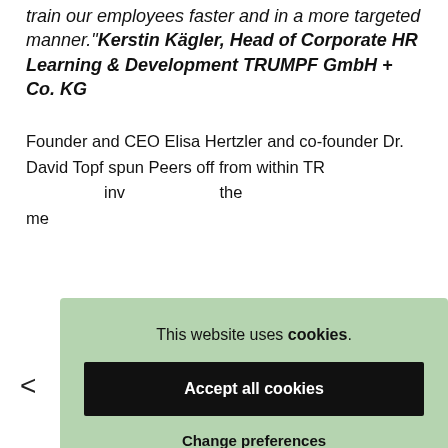train our employees faster and in a more targeted manner." Kerstin Kägler, Head of Corporate HR Learning & Development TRUMPF GmbH + Co. KG
Founder and CEO Elisa Hertzler and co-founder Dr. David Topf spun Peers off from within TR... inv... the... me...
<
This website uses cookies.
Accept all cookies
Change preferences